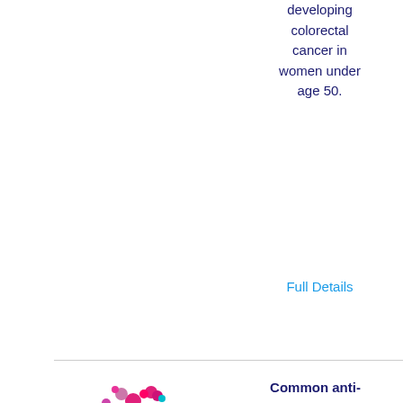developing colorectal cancer in women under age 50.
Full Details
[Figure (logo): Cancer Research UK logo with colorful dot C graphic and purple text]
Common anti-inflammatory drug could boost cancer immunotherapy
Science blog Widely-used anti-inflammatory